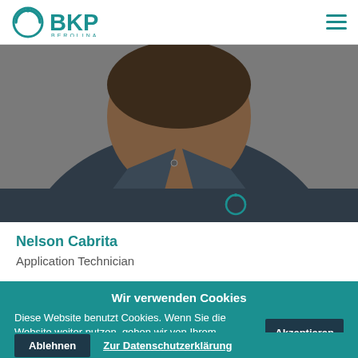[Figure (logo): BKP Berolina company logo with teal circular icon and BKP text]
[Figure (photo): Photo of Nelson Cabrita, a person wearing a dark navy polo shirt with BKP logo, photo is cropped showing upper body and face]
Nelson Cabrita
Application Technician
Wir verwenden Cookies
Diese Website benutzt Cookies. Wenn Sie die Website weiter nutzen, gehen wir von Ihrem Einverständnis aus.
Akzeptieren
Ablehnen
Zur Datenschutzerklärung